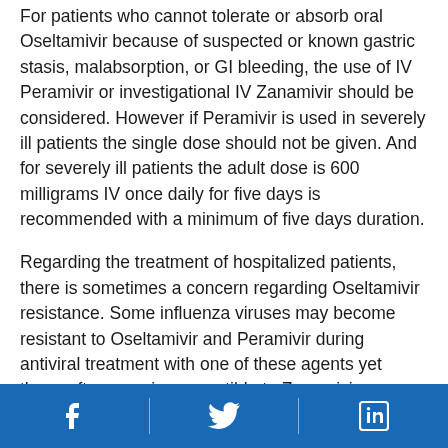For patients who cannot tolerate or absorb oral Oseltamivir because of suspected or known gastric stasis, malabsorption, or GI bleeding, the use of IV Peramivir or investigational IV Zanamivir should be considered. However if Peramivir is used in severely ill patients the single dose should not be given. And for severely ill patients the adult dose is 600 milligrams IV once daily for five days is recommended with a minimum of five days duration.
Regarding the treatment of hospitalized patients, there is sometimes a concern regarding Oseltamivir resistance. Some influenza viruses may become resistant to Oseltamivir and Peramivir during antiviral treatment with one of these agents yet these often remain susceptible to Zanamivir. Investigational use of IV Zanamivir should be considered for treatment
Facebook | Twitter | LinkedIn